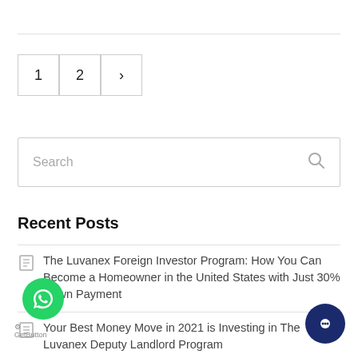1  2  >
Search
Recent Posts
The Luvanex Foreign Investor Program: How You Can Become a Homeowner in the United States with Just 30% Down Payment
Your Best Money Move in 2021 is Investing in The Luvanex Deputy Landlord Program